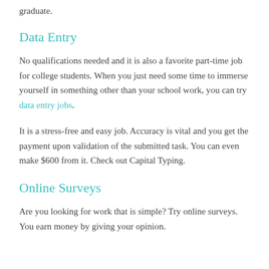graduate.
Data Entry
No qualifications needed and it is also a favorite part-time job for college students. When you just need some time to immerse yourself in something other than your school work, you can try data entry jobs.
It is a stress-free and easy job. Accuracy is vital and you get the payment upon validation of the submitted task. You can even make $600 from it. Check out Capital Typing.
Online Surveys
Are you looking for work that is simple? Try online surveys. You earn money by giving your opinion.